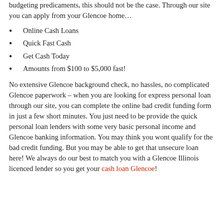budgeting predicaments, this should not be the case. Through our site you can apply from your Glencoe home…
Online Cash Loans
Quick Fast Cash
Get Cash Today
Amounts from $100 to $5,000 fast!
No extensive Glencoe background check, no hassles, no complicated Glencoe paperwork – when you are looking for express personal loan through our site, you can complete the online bad credit funding form in just a few short minutes. You just need to be provide the quick personal loan lenders with some very basic personal income and Glencoe banking information. You may think you wont qualify for the bad credit funding. But you may be able to get that unsecure loan here! We always do our best to match you with a Glencoe Illinois licenced lender so you get your cash loan Glencoe!